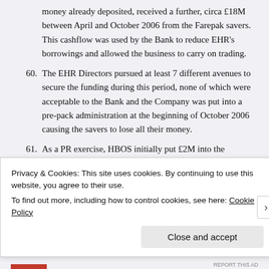money already deposited, received a further, circa £18M between April and October 2006 from the Farepak savers. This cashflow was used by the Bank to reduce EHR's borrowings and allowed the business to carry on trading.
60. The EHR Directors pursued at least 7 different avenues to secure the funding during this period, none of which were acceptable to the Bank and the Company was put into a pre-pack administration at the beginning of October 2006 causing the savers to lose all their money.
61. As a PR exercise, HBOS initially put £2M into the
Privacy & Cookies: This site uses cookies. By continuing to use this website, you agree to their use.
To find out more, including how to control cookies, see here: Cookie Policy